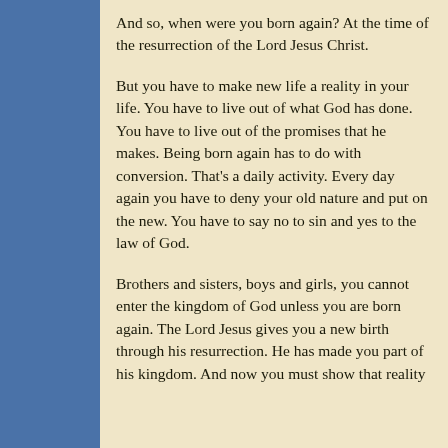And so, when were you born again? At the time of the resurrection of the Lord Jesus Christ.
But you have to make new life a reality in your life. You have to live out of what God has done. You have to live out of the promises that he makes. Being born again has to do with conversion. That's a daily activity. Every day again you have to deny your old nature and put on the new. You have to say no to sin and yes to the law of God.
Brothers and sisters, boys and girls, you cannot enter the kingdom of God unless you are born again. The Lord Jesus gives you a new birth through his resurrection. He has made you part of his kingdom. And now you must show that reality